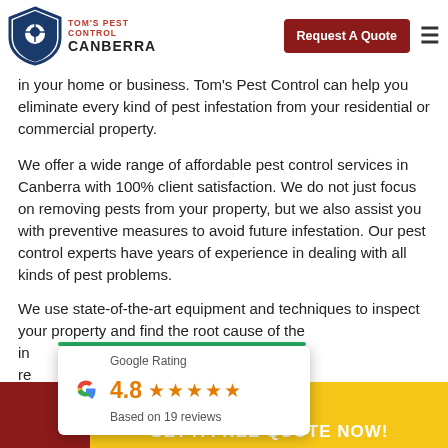Tom's Pest Control Canberra — Request A Quote
in your home or business. Tom's Pest Control can help you eliminate every kind of pest infestation from your residential or commercial property.
We offer a wide range of affordable pest control services in Canberra with 100% client satisfaction. We do not just focus on removing pests from your property, but we also assist you with preventive measures to avoid future infestation. Our pest control experts have years of experience in dealing with all kinds of pest problems.
We use state-of-the-art equipment and techniques to inspect your property and find the root cause of the infestation. We have a record of highly satisfactory results that sets us apart from our competitors.
[Figure (infographic): Google Rating popup showing 4.8 stars based on 19 reviews with Google G logo]
02 6105 9024
GET A FREE QUOTE NOW!